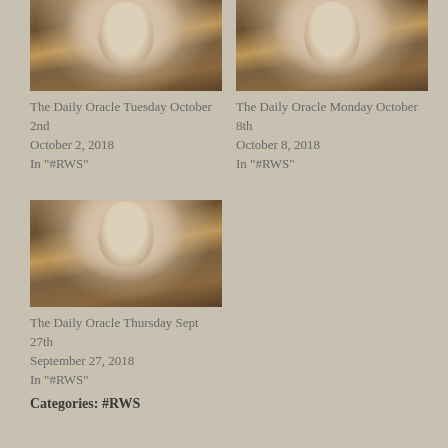[Figure (photo): Photograph of a woman's face with ornate golden decorative elements, used as thumbnail for blog post]
The Daily Oracle Tuesday October 2nd
October 2, 2018
In "#RWS"
[Figure (photo): Photograph of a woman's face with ornate golden decorative elements, used as thumbnail for blog post]
The Daily Oracle Monday October 8th
October 8, 2018
In "#RWS"
[Figure (photo): Photograph of a woman's face with ornate golden decorative elements, used as thumbnail for blog post]
The Daily Oracle Thursday Sept 27th
September 27, 2018
In "#RWS"
Categories: #RWS